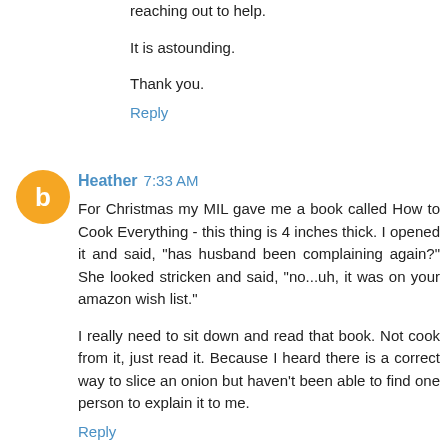reaching out to help.
It is astounding.
Thank you.
Reply
Heather  7:33 AM
For Christmas my MIL gave me a book called How to Cook Everything - this thing is 4 inches thick. I opened it and said, "has husband been complaining again?" She looked stricken and said, "no...uh, it was on your amazon wish list."
I really need to sit down and read that book. Not cook from it, just read it. Because I heard there is a correct way to slice an onion but haven't been able to find one person to explain it to me.
Reply